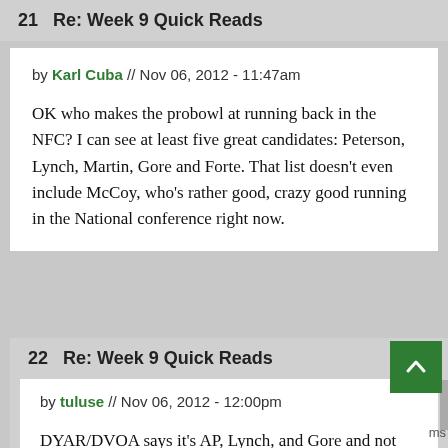21  Re: Week 9 Quick Reads
by Karl Cuba // Nov 06, 2012 - 11:47am
OK who makes the probowl at running back in the NFC? I can see at least five great candidates: Peterson, Lynch, Martin, Gore and Forte. That list doesn't even include McCoy, who's rather good, crazy good running in the National conference right now.
22  Re: Week 9 Quick Reads
by tuluse // Nov 06, 2012 - 12:00pm
DYAR/DVOA says it's AP, Lynch, and Gore and not particularly close right now.